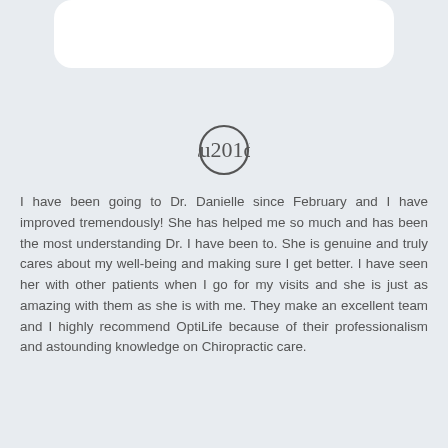[Figure (other): White rounded card/panel at the top of the page]
[Figure (other): Circular quote mark icon (closing double quotation marks) with a dark circular border]
I have been going to Dr. Danielle since February and I have improved tremendously! She has helped me so much and has been the most understanding Dr. I have been to. She is genuine and truly cares about my well-being and making sure I get better. I have seen her with other patients when I go for my visits and she is just as amazing with them as she is with me. They make an excellent team and I highly recommend OptiLife because of their professionalism and astounding knowledge on Chiropractic care.